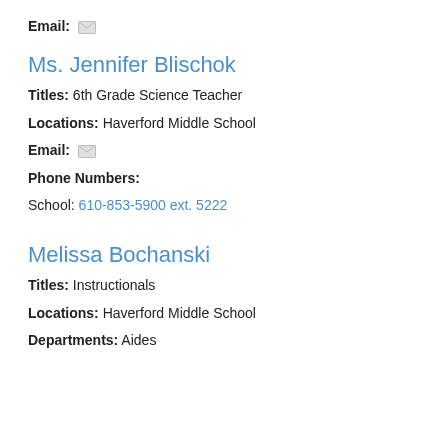Email: [envelope icon]
Ms. Jennifer Blischok
Titles: 6th Grade Science Teacher
Locations: Haverford Middle School
Email: [envelope icon]
Phone Numbers:
School: 610-853-5900 ext. 5222
Melissa Bochanski
Titles: Instructionals
Locations: Haverford Middle School
Departments: Aides